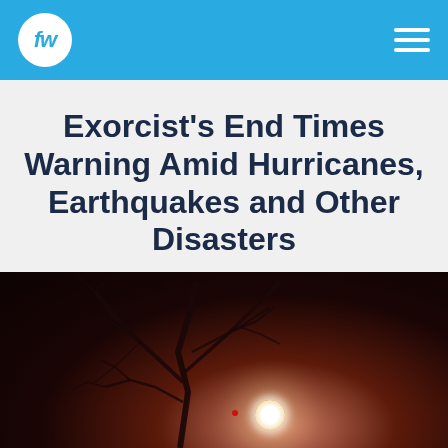fw (logo) | navigation hamburger menu
Exorcist’s End Times Warning Amid Hurricanes, Earthquakes and Other Disasters
[Figure (photo): Dark atmospheric night photo showing bare tree silhouettes against a very dark brownish-red sky, with a bright glowing full moon visible through the branches in the lower right portion of the image. A small red dot is visible near the moon.]